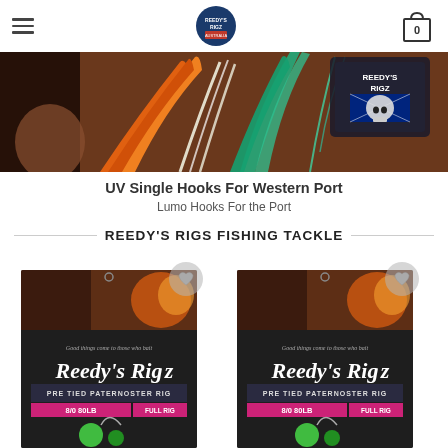[Hamburger menu] [Reedy's Rigz Logo] [Cart: 0]
[Figure (photo): Close-up photo of fishing lures with colorful feathers (orange, green, teal) and a Reedy's Rigz logo badge on a wooden surface]
UV Single Hooks For Western Port
Lumo Hooks For the Port
REEDY'S RIGS FISHING TACKLE
[Figure (photo): Reedy's Rigz product card showing Pre-tied Paternoster Rig, 8/0 80lb with green lumo bead, with wishlist heart icon]
[Figure (photo): Reedy's Rigz product card showing Pre-tied Paternoster Rig, 8/0 80lb with green lumo bead, with wishlist heart icon]